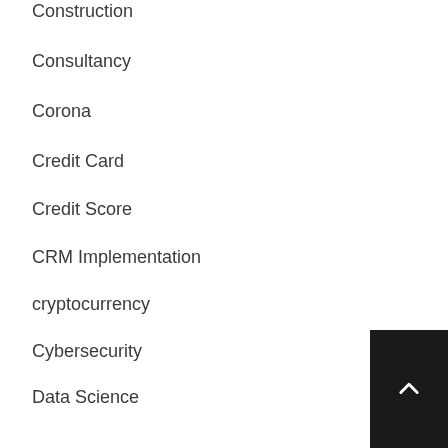Construction
Consultancy
Corona
Credit Card
Credit Score
CRM Implementation
cryptocurrency
Cybersecurity
Data Science
Developer
Digital Transformation